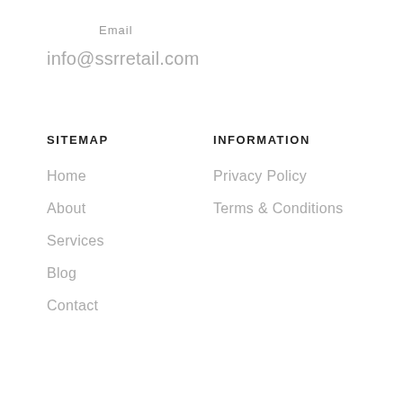Email
info@ssrretail.com
SITEMAP
INFORMATION
Home
Privacy Policy
About
Terms & Conditions
Services
Blog
Contact